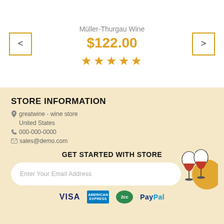Müller-Thurgau Wine
$122.00
[Figure (other): Five gold star rating]
STORE INFORMATION
greatwine - wine store
United States
000-000-0000
sales@demo.com
GET STARTED WITH STORE
Enter Your Email Address
[Figure (illustration): Two wine glasses clinking with red wine, golden circle background]
[Figure (logo): Payment logos: VISA, American Express, 2CO, PayPal]